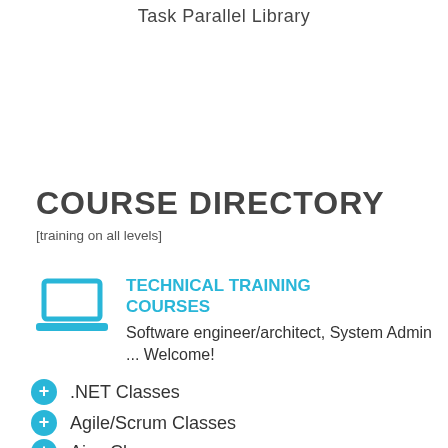Task Parallel Library
COURSE DIRECTORY
[training on all levels]
TECHNICAL TRAINING COURSES
Software engineer/architect, System Admin ... Welcome!
.NET Classes
Agile/Scrum Classes
Ajax Classes